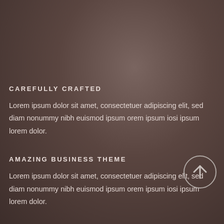CAREFULLY CRAFTED
Lorem ipsum dolor sit amet, consectetuer adipiscing elit, sed diam nonummy nibh euismod ipsum orem ipsum iosi ipsum lorem dolor.
AMAZING BUSINESS THEME
Lorem ipsum dolor sit amet, consectetuer adipiscing elit, sed diam nonummy nibh euismod ipsum orem ipsum iosi ipsum lorem dolor.
[Figure (illustration): A circular button with an upward-pointing arrow icon, outlined in light gray on the dark brown background.]